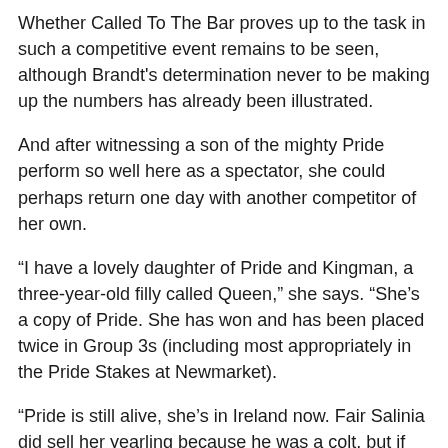Whether Called To The Bar proves up to the task in such a competitive event remains to be seen, although Brandt's determination never to be making up the numbers has already been illustrated.
And after witnessing a son of the mighty Pride perform so well here as a spectator, she could perhaps return one day with another competitor of her own.
“I have a lovely daughter of Pride and Kingman, a three-year-old filly called Queen,” she says. “She’s a copy of Pride. She has won and has been placed twice in Group 3s (including most appropriately in the Pride Stakes at Newmarket).
“Pride is still alive, she’s in Ireland now. Fair Salinia did sell her yearling because he was a colt, but if she has fillies, they keep them.”
Certainly, Pride will be an appropriate word if Hong Kong International Races success comes Pia Brandt’s way, either